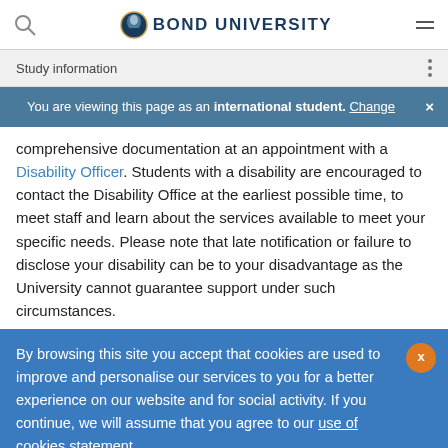Bond University
Study information
You are viewing this page as an international student. Change
comprehensive documentation at an appointment with a Disability Officer. Students with a disability are encouraged to contact the Disability Office at the earliest possible time, to meet staff and learn about the services available to meet your specific needs. Please note that late notification or failure to disclose your disability can be to your disadvantage as the University cannot guarantee support under such circumstances.
By browsing this site you accept that cookies are used to improve and personalise our services to you for a better experience on our website and for social activity. If you continue, we will assume that you agree to our use of cookies statement.